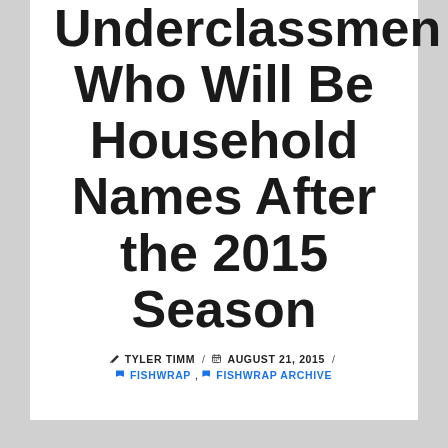Underclassmen Who Will Be Household Names After the 2015 Season
✏ TYLER TIMM / 📅 AUGUST 21, 2015 / 🏳 FISHWRAP, 🏳 FISHWRAP ARCHIVE